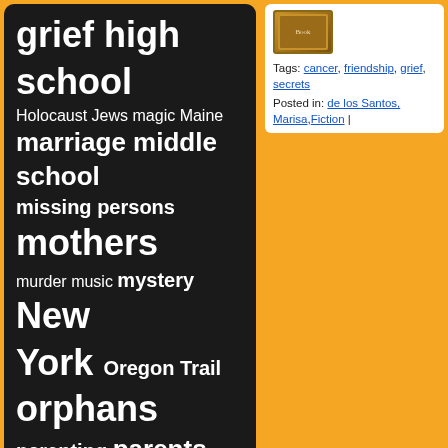[Figure (other): Tag cloud with words of varying sizes: grief, high school, Holocaust, Jews, magic, Maine, marriage, middle school, missing persons, mothers, murder, music, mystery, New York, Oregon Trail, orphans, parenting, parents, pioneers, psychology, reading, school, secrets, siblings, sisters, slavery, survival, teaching, true love, war, World War II, writing — displayed as white text on dark background]
[Figure (photo): Small thumbnail of a book cover]
Tags: cancer, friendship, grief, secrets
Posted in: de los Santos, Marisa,Fiction |
BOOK LINKS
As the Page Turns
Central Rappahannock Regional Library Catalog
Jen Robinson's Book Page
LakeNet Online Catalog
Library Elf